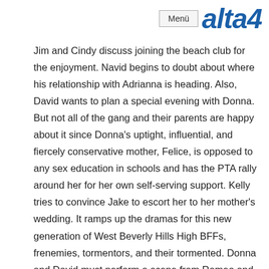Menü alta4
Jim and Cindy discuss joining the beach club for the enjoyment. Navid begins to doubt about where his relationship with Adrianna is heading. Also, David wants to plan a special evening with Donna. But not all of the gang and their parents are happy about it since Donna's uptight, influential, and fiercely conservative mother, Felice, is opposed to any sex education in schools and has the PTA rally around her for her own self-serving support. Kelly tries to convince Jake to escort her to her mother's wedding. It ramps up the dramas for this new generation of West Beverly Hills High BFFs, frenemies, tormentors, and their tormented. Donna and David must perform a scene from Romeo and Juliet for their acting class. Brandon stays home to hand out candy. Feeling scared and confused, Brenda breaks up with Dylan because of the consequences of taking their relationship to the next level with a pregnancy scare. Dylan is tempted by his old surfing friend Sarah, whom he meets at an AA meeting and whose problem is worsening, for she is driven to the bottle by her abusive, equally